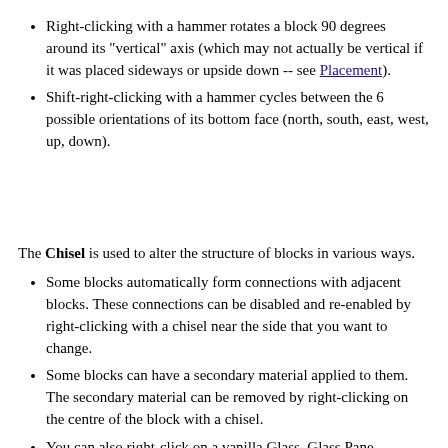Right-clicking with a hammer rotates a block 90 degrees around its "vertical" axis (which may not actually be vertical if it was placed sideways or upside down -- see Placement).
Shift-right-clicking with a hammer cycles between the 6 possible orientations of its bottom face (north, south, east, west, up, down).
The Chisel is used to alter the structure of blocks in various ways.
Some blocks automatically form connections with adjacent blocks. These connections can be disabled and re-enabled by right-clicking with a chisel near the side that you want to change.
Some blocks can have a secondary material applied to them. The secondary material can be removed by right-clicking on the centre of the block with a chisel.
You can also right-click on a vanilla Glass, Glass Pane, Glowstone or Ice block with a chisel to harvest the block without breaking it.